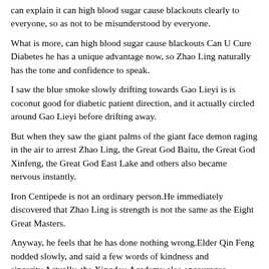can explain it can high blood sugar cause blackouts clearly to everyone, so as not to be misunderstood by everyone.
What is more, can high blood sugar cause blackouts Can U Cure Diabetes he has a unique advantage now, so Zhao Ling naturally has the tone and confidence to speak.
I saw the blue smoke slowly drifting towards Gao Lieyi is is coconut good for diabetic patient direction, and it actually circled around Gao Lieyi before drifting away.
But when they saw the giant palms of the giant face demon raging in the air to arrest Zhao Ling, the Great God Baitu, the Great God Xinfeng, the Great God East Lake and others also became nervous instantly.
Iron Centipede is not an ordinary person.He immediately discovered that Zhao Ling is strength is not the same as the Eight Great Masters.
Anyway, he feels that he has done nothing wrong.Elder Qin Feng nodded slowly, and said a few words of kindness and sincerity.Actually, the Xingdou Academy also encourages everyone to learn skills from each other, but it is a private fight like you, so I do not allow it here.